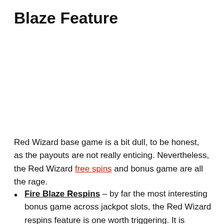Blaze Feature
Red Wizard base game is a bit dull, to be honest, as the payouts are not really enticing. Nevertheless, the Red Wizard free spins and bonus game are all the rage.
Fire Blaze Respins – by far the most interesting bonus game across jackpot slots, the Red Wizard respins feature is one worth triggering. It is activated when 7 or more Flaming Balls land on the game reels (during all